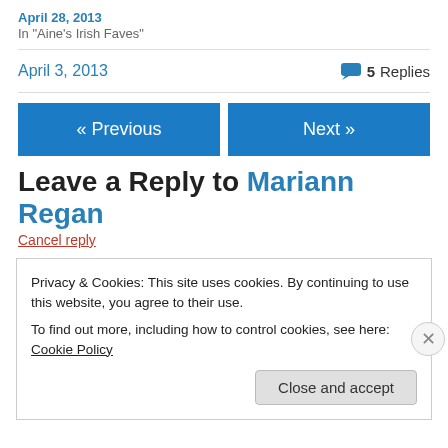April 28, 2013
In "Aine's Irish Faves"
April 3, 2013   5 Replies
« Previous
Next »
Leave a Reply to Mariann Regan
Cancel reply
Privacy & Cookies: This site uses cookies. By continuing to use this website, you agree to their use.
To find out more, including how to control cookies, see here: Cookie Policy
Close and accept